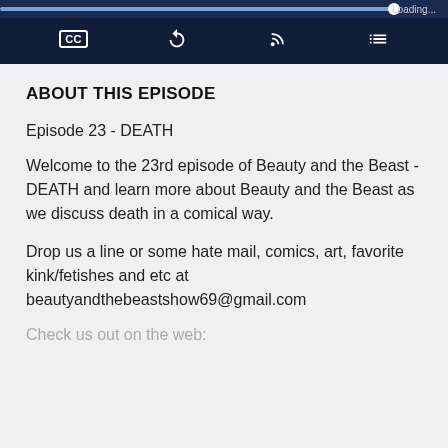[Figure (screenshot): Podcast media player UI with dark navy background, progress bar at top (88% filled, with white circle thumb and 'Loading...' text on right), and four control icons: CC (closed captions), share/reply arrow, RSS feed icon, and playlist/hamburger icon]
ABOUT THIS EPISODE
Episode 23 - DEATH
Welcome to the 23rd episode of Beauty and the Beast - DEATH and learn more about Beauty and the Beast as we discuss death in a comical way.
Drop us a line or some hate mail, comics, art, favorite kink/fetishes and etc at beautyandthebeastshow69@gmail.com
Check us out on the web: